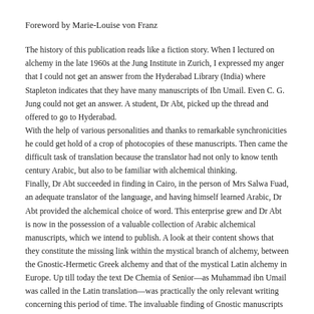Foreword by Marie-Louise von Franz
The history of this publication reads like a fiction story. When I lectured on alchemy in the late 1960s at the Jung Institute in Zurich, I expressed my anger that I could not get an answer from the Hyderabad Library (India) where Stapleton indicates that they have many manuscripts of Ibn Umail. Even C. G. Jung could not get an answer. A student, Dr Abt, picked up the thread and offered to go to Hyderabad.
With the help of various personalities and thanks to remarkable synchronicities he could get hold of a crop of photocopies of these manuscripts. Then came the difficult task of translation because the translator had not only to know tenth century Arabic, but also to be familiar with alchemical thinking.
Finally, Dr Abt succeeded in finding in Cairo, in the person of Mrs Salwa Fuad, an adequate translator of the language, and having himself learned Arabic, Dr Abt provided the alchemical choice of word. This enterprise grew and Dr Abt is now in the possession of a valuable collection of Arabic alchemical manuscripts, which we intend to publish. A look at their content shows that they constitute the missing link within the mystical branch of alchemy, between the Gnostic-Hermetic Greek alchemy and that of the mystical Latin alchemy in Europe. Up till today the text De Chemia of Senior—as Muhammad ibn Umail was called in the Latin translation—was practically the only relevant writing concerning this period of time. The invaluable finding of Gnostic manuscripts in Nag Hammadi has opened up new vistas onto the tradition of Gnosticism and Hermetism and